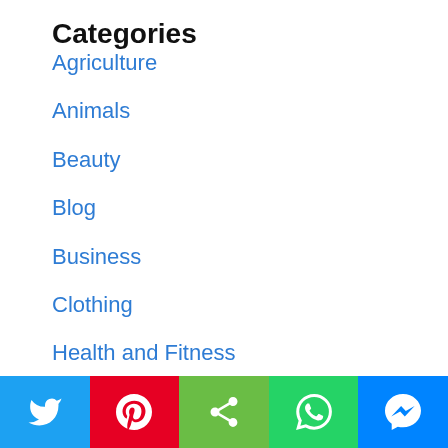Categories
Agriculture
Animals
Beauty
Blog
Business
Clothing
Health and Fitness
Life Style
Marketing
Tech
Social share bar: Twitter, Pinterest, Share, WhatsApp, Messenger